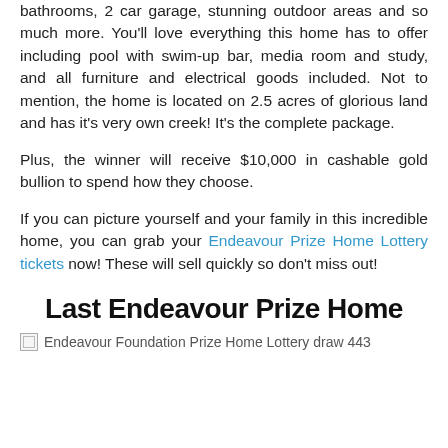bathrooms, 2 car garage, stunning outdoor areas and so much more. You'll love everything this home has to offer including pool with swim-up bar, media room and study, and all furniture and electrical goods included. Not to mention, the home is located on 2.5 acres of glorious land and has it's very own creek! It's the complete package.
Plus, the winner will receive $10,000 in cashable gold bullion to spend how they choose.
If you can picture yourself and your family in this incredible home, you can grab your Endeavour Prize Home Lottery tickets now! These will sell quickly so don't miss out!
Last Endeavour Prize Home
[Figure (photo): Broken image placeholder for Endeavour Foundation Prize Home Lottery draw 443]